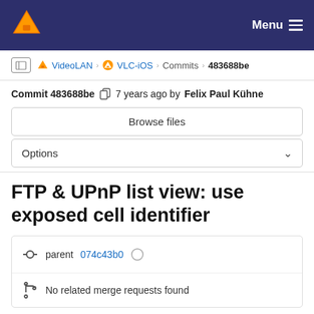VLC Menu
VideoLAN > VLC-iOS > Commits > 483688be
Commit 483688be  7 years ago by Felix Paul Kühne
Browse files
Options
FTP & UPnP list view: use exposed cell identifier
parent 074c43b0
No related merge requests found